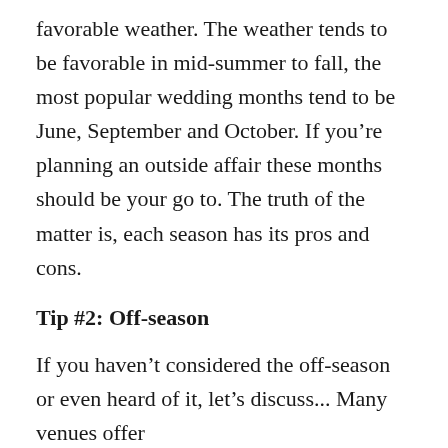favorable weather. The weather tends to be favorable in mid-summer to fall, the most popular wedding months tend to be June, September and October. If you're planning an outside affair these months should be your go to. The truth of the matter is, each season has its pros and cons.
Tip #2: Off-season
If you haven't considered the off-season or even heard of it, let's discuss... Many venues offer